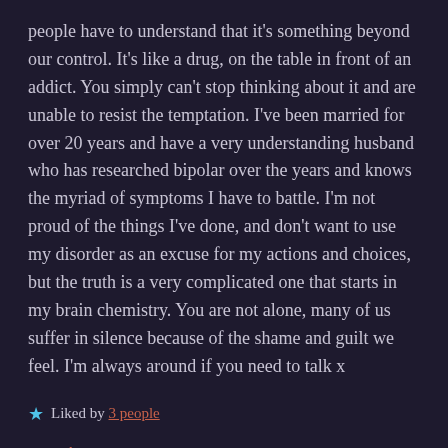people have to understand that it's something beyond our control. It's like a drug, on the table in front of an addict. You simply can't stop thinking about it and are unable to resist the temptation. I've been married for over 20 years and have a very understanding husband who has researched bipolar over the years and knows the myriad of symptoms I have to battle. I'm not proud of the things I've done, and don't want to use my disorder as an excuse for my actions and choices, but the truth is a very complicated one that starts in my brain chemistry. You are not alone, many of us suffer in silence because of the shame and guilt we feel. I'm always around if you need to talk x
★ Liked by 3 people
Reply